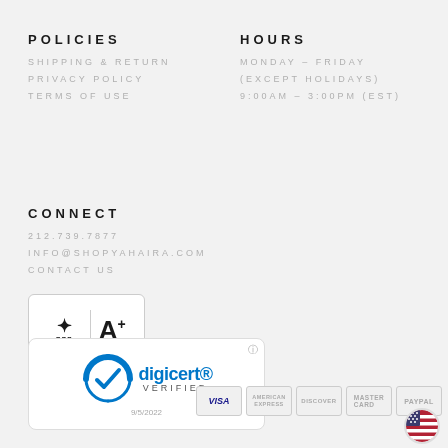POLICIES
SHIPPING & RETURN
PRIVACY POLICY
TERMS OF USE
HOURS
MONDAY – FRIDAY
(EXCEPT HOLIDAYS)
9:00AM – 3:00PM (EST)
CONNECT
212.739.7877
INFO@SHOPYAHAIRA.COM
CONTACT US
[Figure (logo): BBB Accredited Business A+ rating badge]
[Figure (logo): DigiCert Verified badge with date 9/5/2022]
[Figure (logo): Payment icons: VISA, American Express, Discover, MasterCard, PayPal]
[Figure (logo): US flag circle icon]